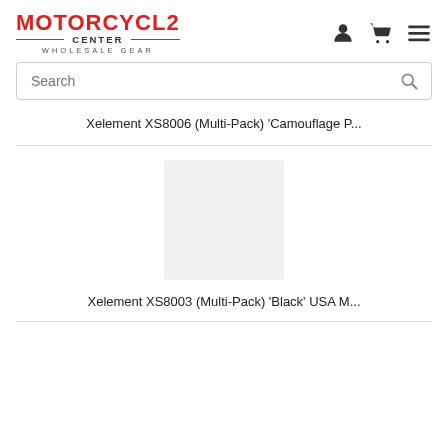MOTORCYCLE CENTER WHOLESALE GEAR
Xelement XS8006 (Multi-Pack) 'Camouflage P...
[Figure (photo): Light gray product image placeholder box]
Xelement XS8003 (Multi-Pack) 'Black' USA M...